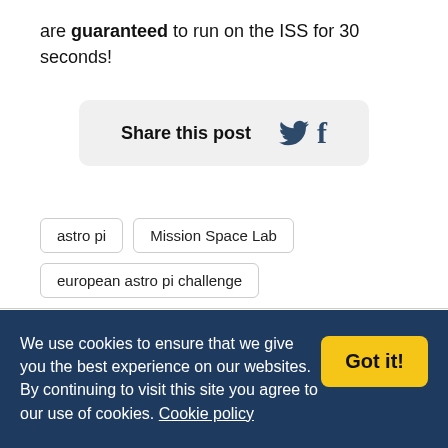are guaranteed to run on the ISS for 30 seconds!
[Figure (infographic): Share this post button with Twitter bird icon and Facebook 'f' icon on a light grey rounded rectangle background]
astro pi
Mission Space Lab
european astro pi challenge
We use cookies to ensure that we give you the best experience on our websites. By continuing to visit this site you agree to our use of cookies. Cookie policy